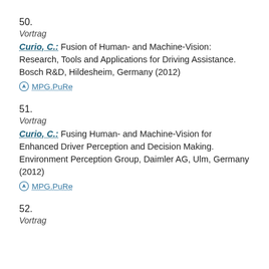50.
Vortrag
Curio, C.: Fusion of Human- and Machine-Vision: Research, Tools and Applications for Driving Assistance. Bosch R&D, Hildesheim, Germany (2012)
MPG.PuRe
51.
Vortrag
Curio, C.: Fusing Human- and Machine-Vision for Enhanced Driver Perception and Decision Making. Environment Perception Group, Daimler AG, Ulm, Germany (2012)
MPG.PuRe
52.
Vortrag